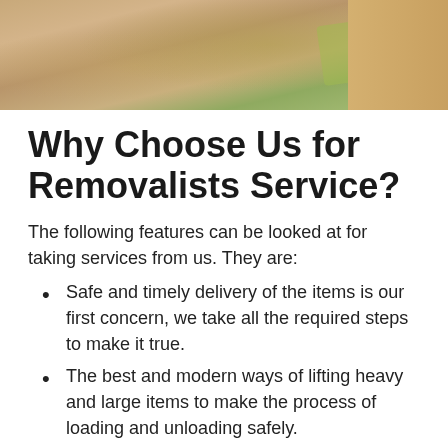[Figure (photo): Photo of wrapped moving boxes or furniture items, showing green stretch wrap and cardboard boxes on a wooden surface]
Why Choose Us for Removalists Service?
The following features can be looked at for taking services from us. They are:
Safe and timely delivery of the items is our first concern, we take all the required steps to make it true.
The best and modern ways of lifting heavy and large items to make the process of loading and unloading safely.
The size of the work does not matter to us. We are equally devoted to small as bulk work of removal.